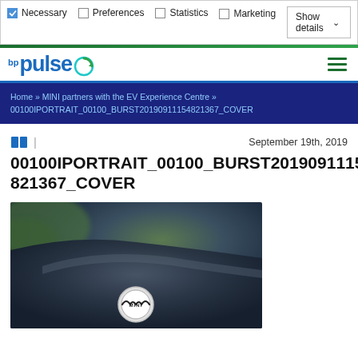Necessary  Preferences  Statistics  Marketing  Show details
[Figure (logo): bp pulse logo with circular arrow icon]
[Figure (other): Hamburger menu icon with three green horizontal lines]
Home » MINI partners with the EV Experience Centre » 00100IPORTRAIT_00100_BURST20190911154821367_COVER
September 19th, 2019
00100IPORTRAIT_00100_BURST20190911154821367_COVER
[Figure (photo): Close-up photo of a dark blue MINI car hood/bonnet showing the MINI logo badge, with blurred green background]